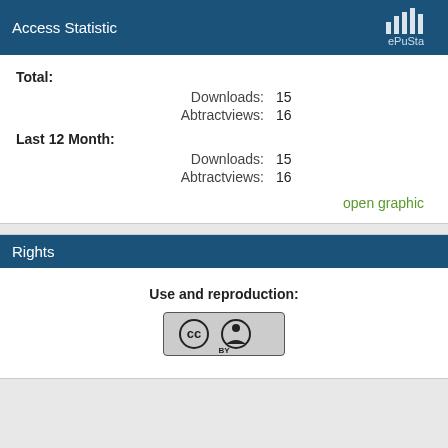Access Statistic
Total:
Downloads: 15
Abtractviews: 16
Last 12 Month:
Downloads: 15
Abtractviews: 16
open graphic
Rights
Use and reproduction:
[Figure (logo): Creative Commons Attribution (CC BY) license badge]